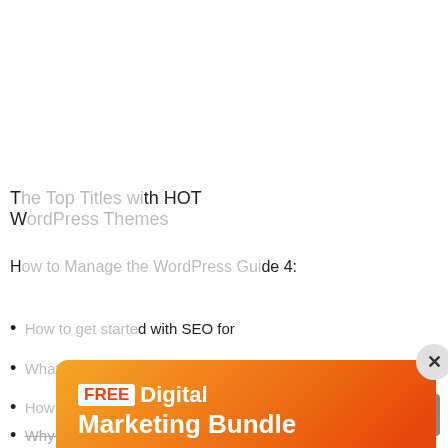T... h HOT W...
H... de 4:
... with SEO for
... WordPress?
... to use it?
Why is Yoast SEO plugin great for content marketing?
[Figure (infographic): FREE Digital Marketing Bundle popup modal with orange-red gradient background. Contains FREE badge, title 'FREE Digital Marketing Bundle', bullet list of items (5 PPT Templates, 5 PSD Templates, 5 Landing Page Templates, 5 Corporate Identity Templates), email input field, and Get Bundle button. Close X button top-right.]